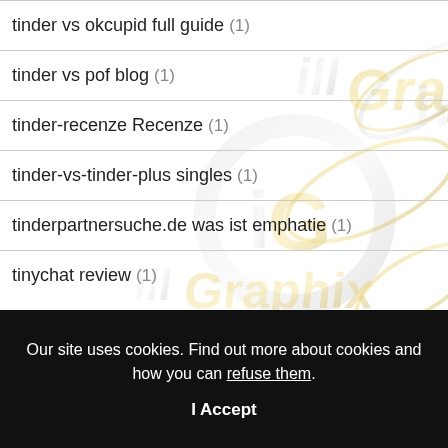tinder vs okcupid full guide (1)
tinder vs pof blog (1)
tinder-recenze Recenze (1)
tinder-vs-tinder-plus singles (1)
tinderpartnersuche.de was ist emphatie (1)
tinychat review (1)
Our site uses cookies. Find out more about cookies and how you can refuse them.
I Accept